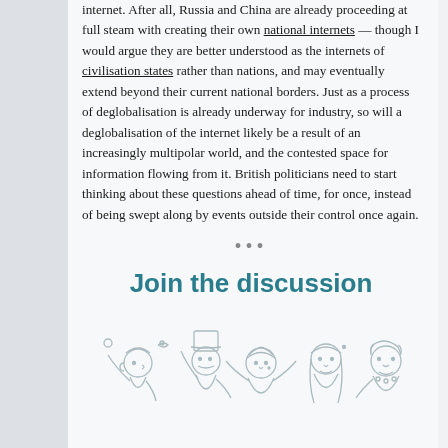internet. After all, Russia and China are already proceeding at full steam with creating their own national internets — though I would argue they are better understood as the internets of civilisation states rather than nations, and may eventually extend beyond their current national borders. Just as a process of deglobalisation is already underway for industry, so will a deglobalisation of the internet likely be a result of an increasingly multipolar world, and the contested space for information flowing from it. British politicians need to start thinking about these questions ahead of time, for once, instead of being swept along by events outside their control once again.
•••
Join the discussion
[Figure (illustration): Line drawing illustration of a crowd of diverse people, showing various faces and characters in a group discussion scene]